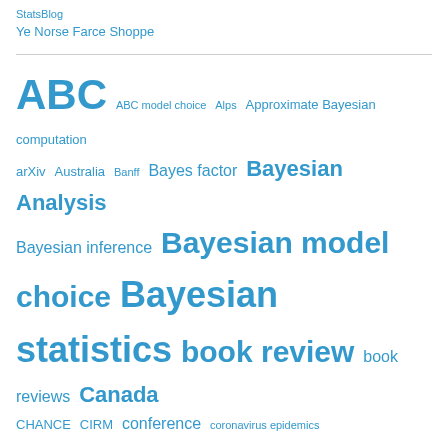StatsBlog
Ye Norse Farce Shoppe
ABC  ABC model choice  Alps  Approximate Bayesian computation  arXiv  Australia  Banff  Bayes factor  Bayesian Analysis  Bayesian inference  Bayesian model choice  Bayesian statistics  book review  book reviews  Canada  CHANCE  CIRM  conference  coronavirus epidemics  COVID-19  CREST  cross validated  Donald Trump  Edinburgh  England  evidence  France  Gibbs sampling  Hamiltonian Monte Carlo  Iceland  importance sampling  India  Introducing Monte Carlo Methods with R  ISBA  Italia  Japan  jatp  Le Monde  likelihood-free methods  London  Luminy  machine learning  Marseille  mathematical puzzle